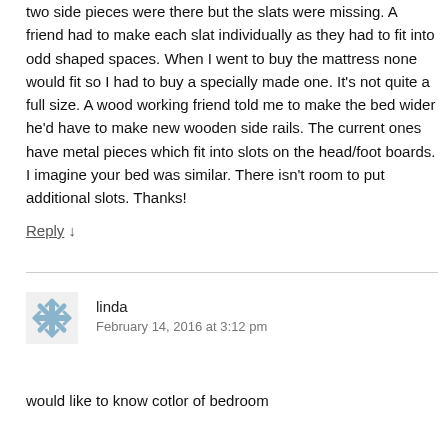two side pieces were there but the slats were missing. A friend had to make each slat individually as they had to fit into odd shaped spaces. When I went to buy the mattress none would fit so I had to buy a specially made one. It's not quite a full size. A wood working friend told me to make the bed wider he'd have to make new wooden side rails. The current ones have metal pieces which fit into slots on the head/foot boards. I imagine your bed was similar. There isn't room to put additional slots. Thanks!
Reply ↓
linda
February 14, 2016 at 3:12 pm
would like to know cotlor of bedroom